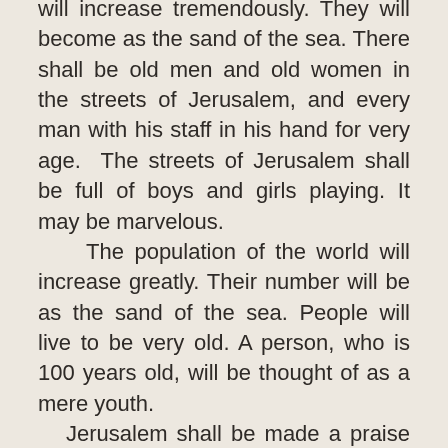will increase tremendously. They will become as the sand of the sea. There shall be old men and old women in the streets of Jerusalem, and every man with his staff in his hand for very age. The streets of Jerusalem shall be full of boys and girls playing. It may be marvelous. The population of the world will increase greatly. Their number will be as the sand of the sea. People will live to be very old. A person, who is 100 years old, will be thought of as a mere youth. Jerusalem shall be made a praise in the earth. It shall be called: a city of truth, the city of the Lord, the throne of the Lord, a city not forsaken. Jerusalem's walls shall be called Salvation.